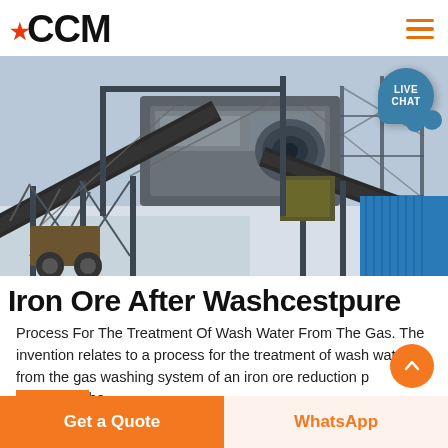CCM
[Figure (photo): Industrial iron ore washing/processing equipment with conveyor belts and steel framework structures at an outdoor facility, blue corrugated panels visible on the right side.]
Iron Ore After Washcestpure
Process For The Treatment Of Wash Water From The Gas. The invention relates to a process for the treatment of wash water from the gas washing system of an iron ore reduction p...he